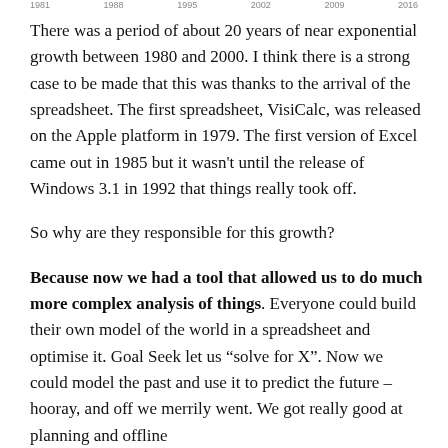1981   1988   1995   2002   2009   2016
There was a period of about 20 years of near exponential growth between 1980 and 2000. I think there is a strong case to be made that this was thanks to the arrival of the spreadsheet. The first spreadsheet, VisiCalc, was released on the Apple platform in 1979. The first version of Excel came out in 1985 but it wasn’t until the release of Windows 3.1 in 1992 that things really took off.
So why are they responsible for this growth?
Because now we had a tool that allowed us to do much more complex analysis of things. Everyone could build their own model of the world in a spreadsheet and optimise it. Goal Seek let us “solve for X”. Now we could model the past and use it to predict the future – hooray, and off we merrily went. We got really good at planning and offline